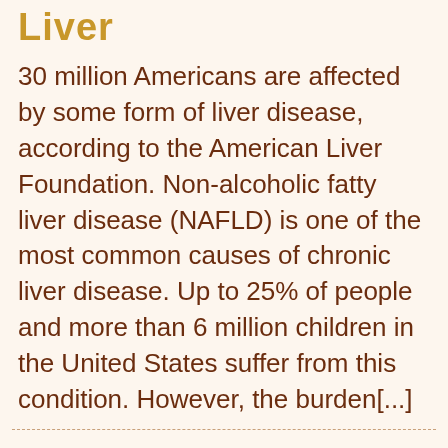Liver
30 million Americans are affected by some form of liver disease, according to the American Liver Foundation. Non-alcoholic fatty liver disease (NAFLD) is one of the most common causes of chronic liver disease. Up to 25% of people and more than 6 million children in the United States suffer from this condition. However, the burden[...]